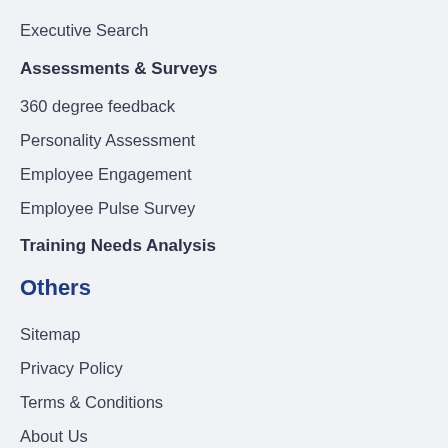Executive Search
Assessments & Surveys
360 degree feedback
Personality Assessment
Employee Engagement
Employee Pulse Survey
Training Needs Analysis
Others
Sitemap
Privacy Policy
Terms & Conditions
About Us